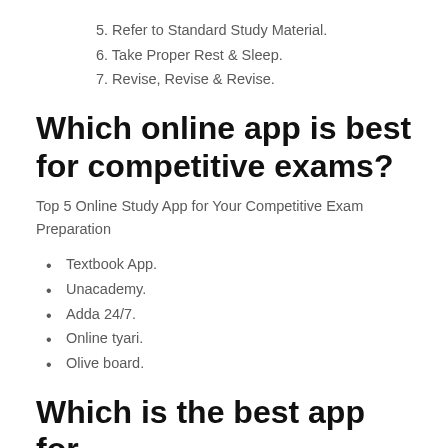5. Refer to Standard Study Material.
6. Take Proper Rest & Sleep.
7. Revise, Revise & Revise.
Which online app is best for competitive exams?
Top 5 Online Study App for Your Competitive Exam Preparation
Textbook App.
Unacademy.
Adda 24/7.
Online tyari.
Olive board.
Which is the best app for